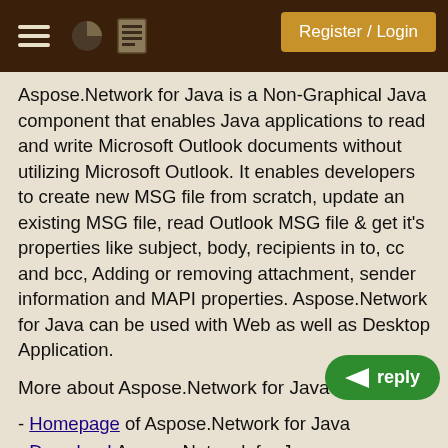Register / Login
Aspose.Network for Java is a Non-Graphical Java component that enables Java applications to read and write Microsoft Outlook documents without utilizing Microsoft Outlook. It enables developers to create new MSG file from scratch, update an existing MSG file, read Outlook MSG file & get it's properties like subject, body, recipients in to, cc and bcc, Adding or removing attachment, sender information and MAPI properties. Aspose.Network for Java can be used with Web as well as Desktop Application.
More about Aspose.Network for Java
- Homepage of Aspose.Network for Java
- Download Aspose.Network for Java
- Online documentation of Aspose.Network for Java
- Demos of Aspose.Network for Java
- Post your technical questions/queries to Aspose.Network for Java Forum
- Receive notifications about latest news and supported